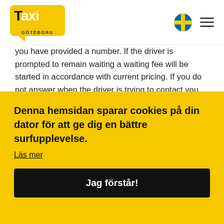[Figure (logo): Taxi Göteborg logo — yellow speech bubble with 'Taxi' text in black/white and 'GÖTEBORG' below]
you have provided a number. If the driver is prompted to remain waiting a waiting fee will be started in accordance with current pricing. If you do not answer when the driver is trying to contact you the driver will cancel the booking and leave the pickup place (in total 15 minutes after the appointed pickup time). In such a case you are obliged to fully pay for the trip.
Denna hemsidan sparar cookies på din dator för att ge dig en bättre surfupplevelse.
Läs mer
Jag förstår!
When you book a taxi through one of our digital platforms you